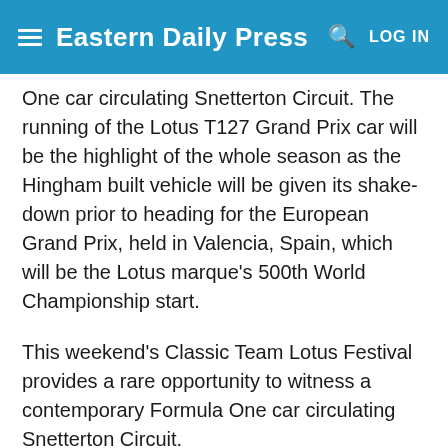Eastern Daily Press | LOG IN
One car circulating Snetterton Circuit. The running of the Lotus T127 Grand Prix car will be the highlight of the whole season as the Hingham built vehicle will be given its shake-down prior to heading for the European Grand Prix, held in Valencia, Spain, which will be the Lotus marque's 500th World Championship start.
This weekend's Classic Team Lotus Festival provides a rare opportunity to witness a contemporary Formula One car circulating Snetterton Circuit.
The running of the Lotus T127 Grand Prix car will be the highlight of the whole season as the Hingham built vehicle will be given its shake-down prior to heading for the European Grand Prix, held in Valencia, Spain, which will be the Lotus marque's 500th World Championship start.